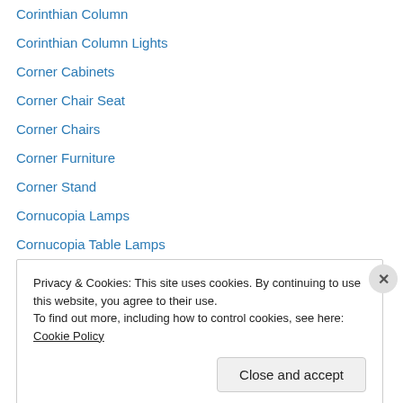Corinthian Column
Corinthian Column Lights
Corner Cabinets
Corner Chair Seat
Corner Chairs
Corner Furniture
Corner Stand
Cornucopia Lamps
Cornucopia Table Lamps
Couch Day Bed
Credenza Sideboard
Crinkle Mirror
Crystal cuff Bracelet
Crystal Cufflinks (partially visible)
Privacy & Cookies: This site uses cookies. By continuing to use this website, you agree to their use.
To find out more, including how to control cookies, see here: Cookie Policy
Close and accept